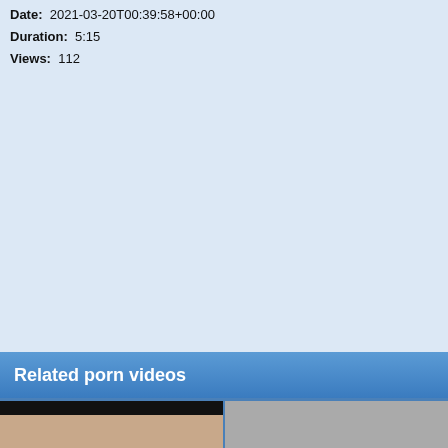Date: 2021-03-20T00:39:58+00:00
Duration: 5:15
Views: 112
Related porn videos
[Figure (photo): Thumbnail of a video showing a person, with a dark top portion and beige/skin-toned lower portion]
[Figure (photo): Thumbnail of a video showing a gray/neutral background]